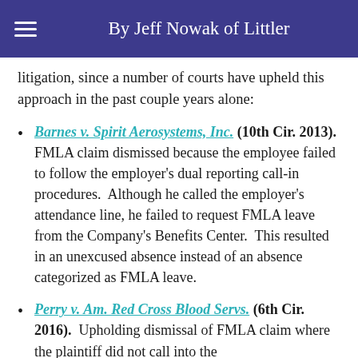By Jeff Nowak of Littler
litigation, since a number of courts have upheld this approach in the past couple years alone:
Barnes v. Spirit Aerosystems, Inc. (10th Cir. 2013). FMLA claim dismissed because the employee failed to follow the employer's dual reporting call-in procedures. Although he called the employer's attendance line, he failed to request FMLA leave from the Company's Benefits Center. This resulted in an unexcused absence instead of an absence categorized as FMLA leave.
Perry v. Am. Red Cross Blood Servs. (6th Cir. 2016). Upholding dismissal of FMLA claim where the plaintiff did not call into the